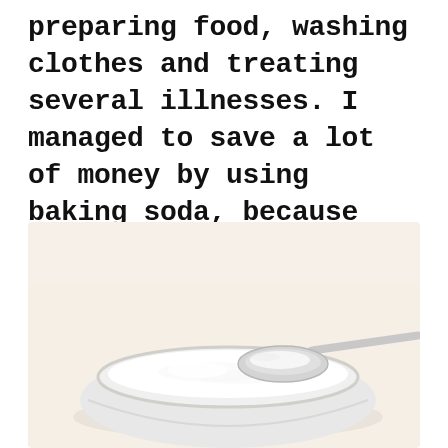preparing food, washing clothes and treating several illnesses. I managed to save a lot of money by using baking soda, because nowadays I don’t buy any useless cosmetics and chemical products for household purposes.
[Figure (photo): A white bowl filled with baking soda (white powder) with a silver spoon resting on top, photographed against a warm cream/beige background.]